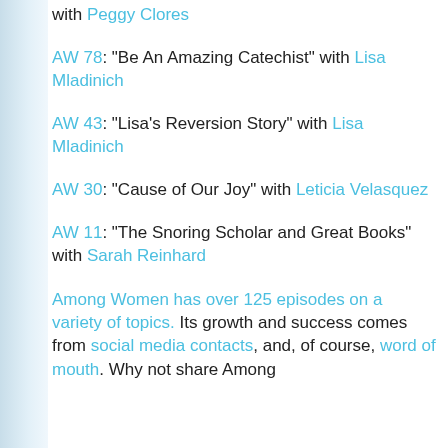with Peggy Clores
AW 78: "Be An Amazing Catechist" with Lisa Mladinich
AW 43: "Lisa's Reversion Story" with Lisa Mladinich
AW 30: "Cause of Our Joy" with Leticia Velasquez
AW 11: "The Snoring Scholar and Great Books" with Sarah Reinhard
Among Women has over 125 episodes on a variety of topics.  Its growth and success comes from social media contacts, and, of course, word of mouth. Why not share Among